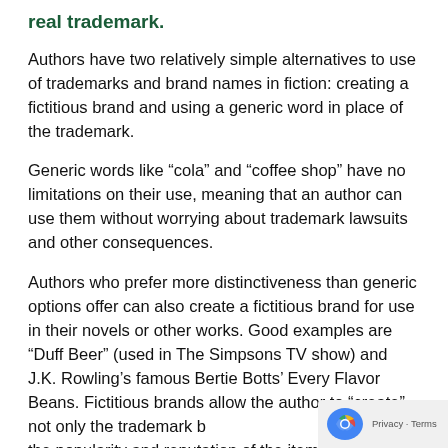real trademark.
Authors have two relatively simple alternatives to use of trademarks and brand names in fiction: creating a fictitious brand and using a generic word in place of the trademark.
Generic words like “cola” and “coffee shop” have no limitations on their use, meaning that an author can use them without worrying about trademark lawsuits and other consequences.
Authors who prefer more distinctiveness than generic options offer can also create a fictitious brand for use in their novels or other works. Good examples are “Duff Beer” (used in The Simpsons TV show) and J.K. Rowling’s famous Bertie Botts’ Every Flavor Beans. Fictitious brands allow the author to “create” not only the trademark but also the popularity and reputation of the item (and the fictitious company that produces it). This has enormous advantages because the author isn’t constrained to positive comments